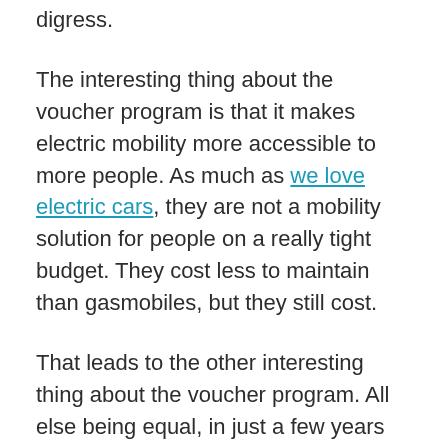digress.
The interesting thing about the voucher program is that it makes electric mobility more accessible to more people. As much as we love electric cars, they are not a mobility solution for people on a really tight budget. They cost less to maintain than gasmobiles, but they still cost.
That leads to the other interesting thing about the voucher program. All else being equal, in just a few years electric cars will be less expensive to buy than gasmobiles, which means that more people will be able to afford more cars, which means that there will be more traffic, more congestion, and more pressure to shove pedestrians and cyclists aside in favor of more car lanes.
And don’t even get us started on where to put all the EV